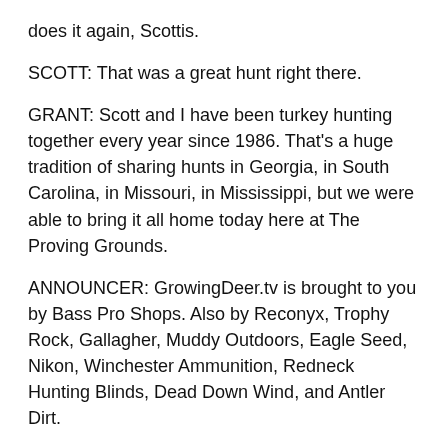does it again, Scottis.
SCOTT: That was a great hunt right there.
GRANT: Scott and I have been turkey hunting together every year since 1986. That's a huge tradition of sharing hunts in Georgia, in South Carolina, in Missouri, in Mississippi, but we were able to bring it all home today here at The Proving Grounds.
ANNOUNCER: GrowingDeer.tv is brought to you by Bass Pro Shops. Also by Reconyx, Trophy Rock, Gallagher, Muddy Outdoors, Eagle Seed, Nikon, Winchester Ammunition, Redneck Hunting Blinds, Dead Down Wind, and Antler Dirt.
ADAM: Got my Grandpa here. He'll be – you'll be 88 in a month, isn't that correct?
JUNIOR: In June, yeah.